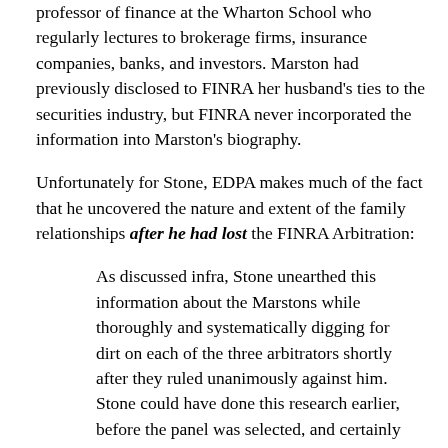professor of finance at the Wharton School who regularly lectures to brokerage firms, insurance companies, banks, and investors. Marston had previously disclosed to FINRA her husband's ties to the securities industry, but FINRA never incorporated the information into Marston's biography.
Unfortunately for Stone, EDPA makes much of the fact that he uncovered the nature and extent of the family relationships after he had lost the FINRA Arbitration:
As discussed infra, Stone unearthed this information about the Marstons while thoroughly and systematically digging for dirt on each of the three arbitrators shortly after they ruled unanimously against him. Stone could have done this research earlier, before the panel was selected, and certainly before he lost his case. (Stone Tr. 74:13-75:17). But he investigated the arbitrators only after they had...